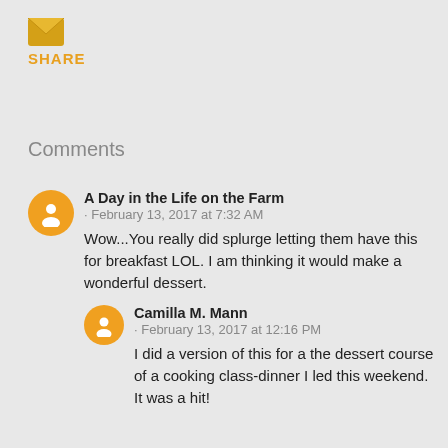[Figure (logo): Email/share envelope icon in gold/orange color]
SHARE
Comments
A Day in the Life on the Farm
· February 13, 2017 at 7:32 AM
Wow...You really did splurge letting them have this for breakfast LOL. I am thinking it would make a wonderful dessert.
Camilla M. Mann
· February 13, 2017 at 12:16 PM
I did a version of this for a the dessert course of a cooking class-dinner I led this weekend. It was a hit!